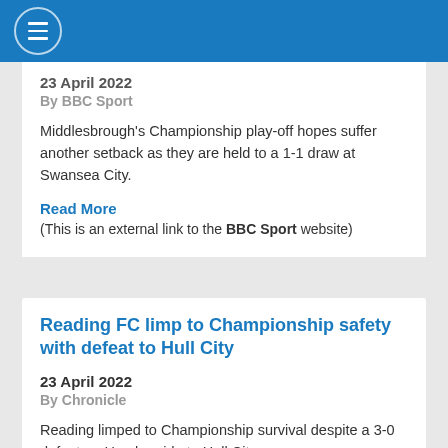Menu navigation bar
23 April 2022
By BBC Sport
Middlesbrough's Championship play-off hopes suffer another setback as they are held to a 1-1 draw at Swansea City.
Read More
(This is an external link to the BBC Sport website)
Reading FC limp to Championship safety with defeat to Hull City
23 April 2022
By Chronicle
Reading limped to Championship survival despite a 3-0 defeat on Humberside to Hull City.